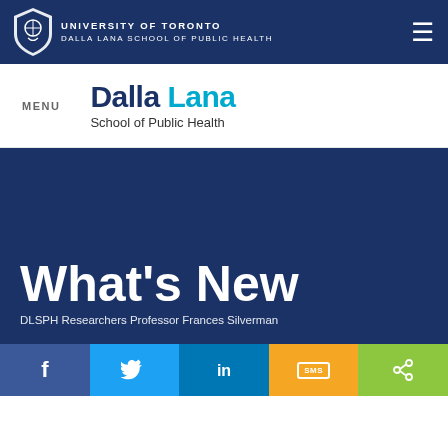University of Toronto Dalla Lana School of Public Health
[Figure (logo): Dalla Lana School of Public Health logo with Dalla Lana in navy and cyan, School of Public Health in dark text]
What's New
DLSPH Researchers Professor Frances Silverman...
[Figure (infographic): Social media sharing bar with Facebook, Twitter, LinkedIn, SMS, and share buttons]